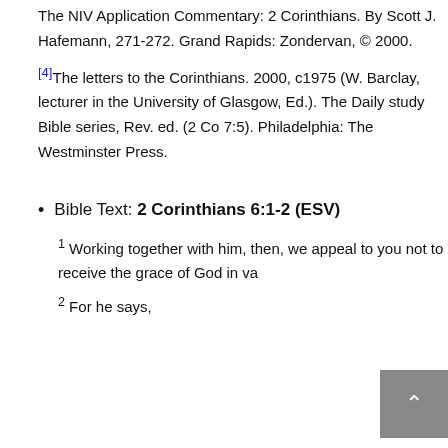The NIV Application Commentary: 2 Corinthians. By Scott J. Hafemann, 271-272. Grand Rapids: Zondervan, © 2000.
[4]The letters to the Corinthians. 2000, c1975 (W. Barclay, lecturer in the University of Glasgow, Ed.). The Daily study Bible series, Rev. ed. (2 Co 7:5). Philadelphia: The Westminster Press.
Bible Text: 2 Corinthians 6:1-2 (ESV)
1 Working together with him, then, we appeal to you not to receive the grace of God in va... 2 For he says,